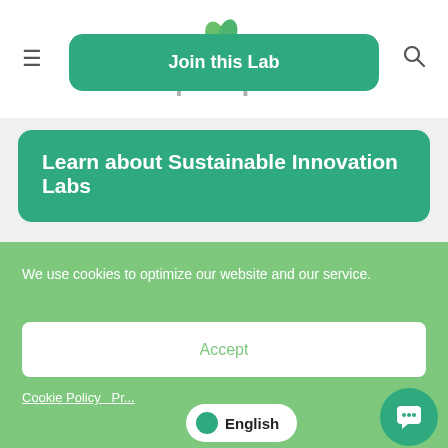[Figure (logo): prepr logo with green leaf icon above the text, grey sans-serif font]
Join this Lab
Learn about Sustainable Innovation Labs
We use cookies to optimize our website and our service.
Accept
Cookie Policy
English